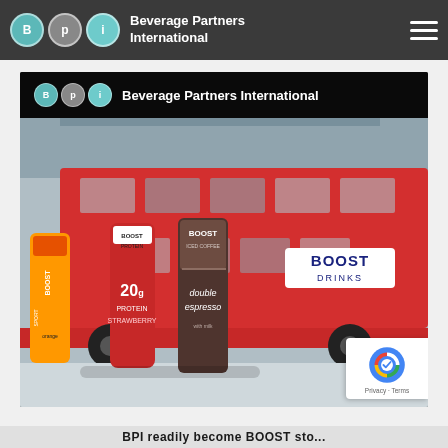Beverage Partners International
[Figure (photo): BPI website screenshot showing navigation bar with BPI logo (circles labeled B, P, I in teal/grey) and text 'Beverage Partners International', hamburger menu icon, and a banner image featuring a red double-decker London bus branded with 'BOOST DRINKS', alongside Boost Sport, Boost Protein (20g Strawberry), and Boost Iced Coffee (Double Espresso) drink products in foreground. Banner includes BPI logo overlay at top.]
BPI x ...la... BOOST ...